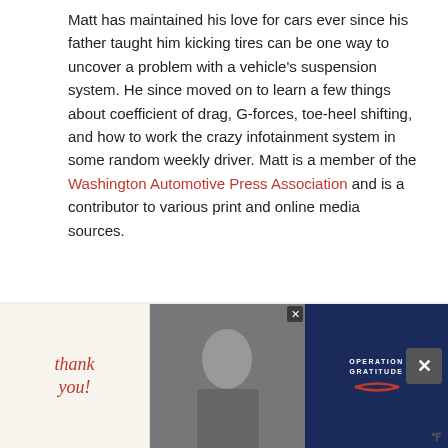Matt has maintained his love for cars ever since his father taught him kicking tires can be one way to uncover a problem with a vehicle's suspension system. He since moved on to learn a few things about coefficient of drag, G-forces, toe-heel shifting, and how to work the crazy infotainment system in some random weekly driver. Matt is a member of the Washington Automotive Press Association and is a contributor to various print and online media sources.
[Figure (other): Social sharing buttons: Facebook (blue), Twitter (cyan), Pinterest (red), Email (green), Print (gray)]
[Figure (other): Operation Gratitude advertisement banner: Say Thank You to Deployed Troops, with car image and What's Next: The Five Top Selling...]
[Figure (other): Bottom advertisement bar: Thank you with Operation Gratitude logo, military photo, and Operation Gratitude branding on dark blue background. Close X button visible.]